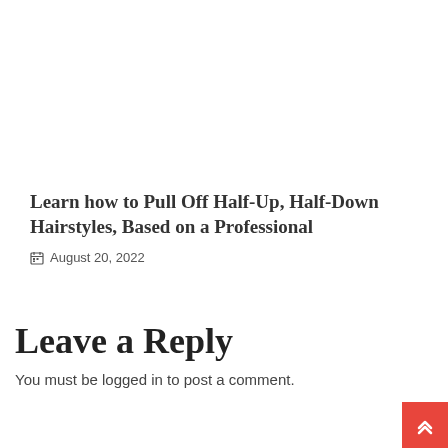Learn how to Pull Off Half-Up, Half-Down Hairstyles, Based on a Professional
August 20, 2022
Leave a Reply
You must be logged in to post a comment.